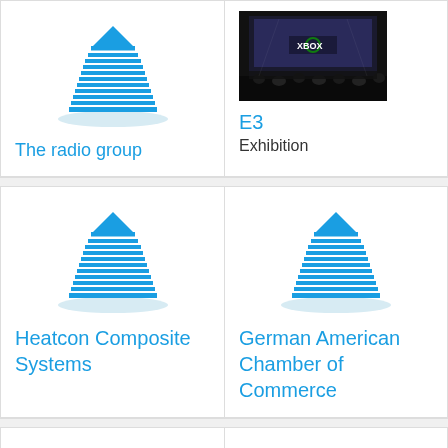[Figure (illustration): Building/skyscraper icon in teal/blue]
The radio group
[Figure (photo): Xbox E3 exhibition event photo with large screen]
E3
Exhibition
[Figure (illustration): Building/skyscraper icon in teal/blue]
Heatcon Composite Systems
[Figure (illustration): Building/skyscraper icon in teal/blue]
German American Chamber of Commerce
[Figure (illustration): Partial view of a red circular logo at bottom]